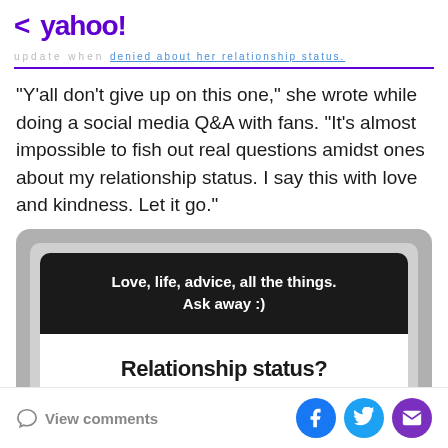< yahoo!
"Y'all don't give up on this one," she wrote while doing a social media Q&A with fans. "It's almost impossible to fish out real questions amidst ones about my relationship status. I say this with love and kindness. Let it go."
[Figure (screenshot): Screenshot of a social media Q&A interface. Top box (dark background): 'Love, life, advice, all the things. Ask away :)'. Bottom box (white background): 'Relationship status?']
View comments